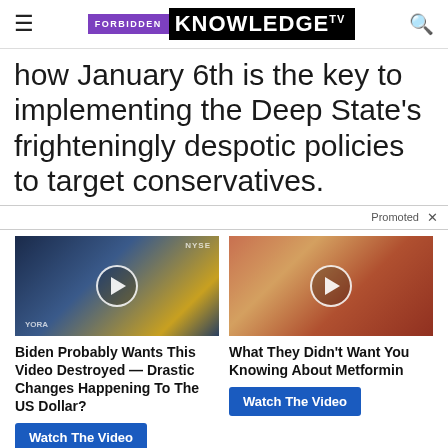FORBIDDEN KNOWLEDGE TV
how January 6th is the key to implementing the Deep State's frighteningly despotic policies to target conservatives.
Promoted X
[Figure (photo): Video thumbnail showing a man in a studio setting with NYSE ticker visible, with a play button overlay]
[Figure (photo): Video thumbnail showing a medical/anatomy image of intestines or organs in red and orange tones, with a play button overlay]
Biden Probably Wants This Video Destroyed — Drastic Changes Happening To The US Dollar?
Watch The Video
What They Didn't Want You Knowing About Metformin
Watch The Video